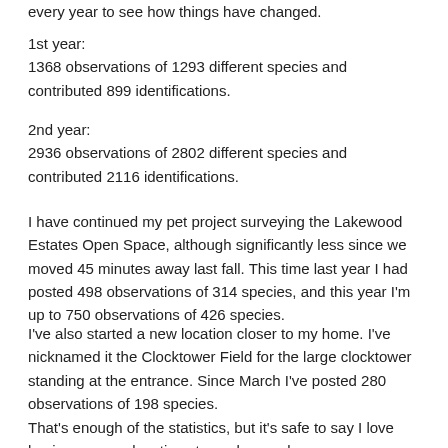every year to see how things have changed.
1st year:
1368 observations of 1293 different species and contributed 899 identifications.
2nd year:
2936 observations of 2802 different species and contributed 2116 identifications.
I have continued my pet project surveying the Lakewood Estates Open Space, although significantly less since we moved 45 minutes away last fall. This time last year I had posted 498 observations of 314 species, and this year I'm up to 750 observations of 426 species.
I've also started a new location closer to my home. I've nicknamed it the Clocktower Field for the large clocktower standing at the entrance. Since March I've posted 280 observations of 198 species.
That's enough of the statistics, but it's safe to say I love having my own locations to explore and